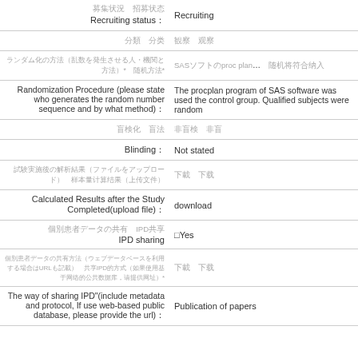| Field | Value |
| --- | --- |
| 募集状況　招募状态
Recruiting status： | Recruiting |
| 分類　分类 | 観察　观察 |
| ランダム化の方法（乱数を発生させる人・機関と方法）*　随机方法*　 | SASソフトのproc plan... |
| Randomization Procedure (please state who generates the random number sequence and by what method)： | The procplan program of SAS software was used the control group. Qualified subjects were random |
| 盲検化　盲法 | 非盲検　非盲 |
| Blinding： | Not stated |
| 試験実施後の解析結果（ファイルをアップロード）　样本量计算结果（上传文件） | 下載　下载 |
| Calculated Results after the Study Completed(upload file)： | download |
| 個別患者データの共有　IPD共享
IPD sharing | □Yes |
| 個別患者データの共有方法（ウェブデータベースを利用する場合はURLも記載）　共享IPD的方式（如果使用基于网络的公共数据库，请提供网址）* | 下載　下载 |
| The way of sharing IPD"(include metadata and protocol, If use web-based public database, please provide the url)： | Publication of papers |